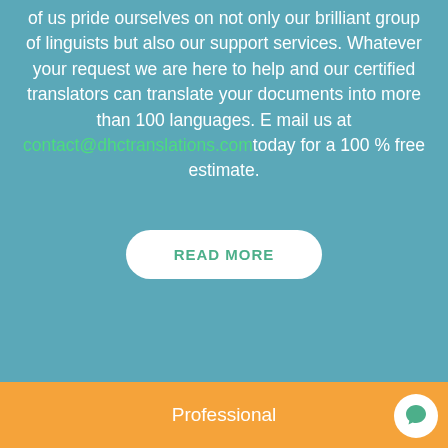of us pride ourselves on not only our brilliant group of linguists but also our support services. Whatever your request we are here to help and our certified translators can translate your documents into more than 100 languages. E mail us at contact@dhctranslations.com today for a 100 % free estimate.
READ MORE
Professional